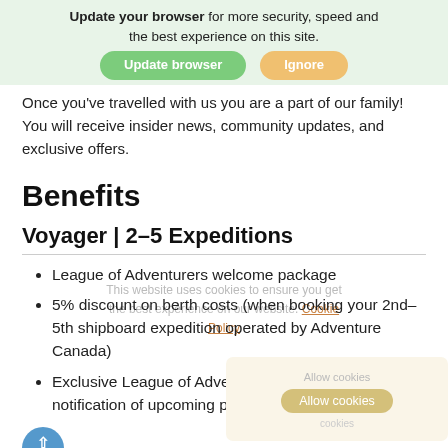Update your browser for more security, speed and the best experience on this site.
Once you've travelled with us you are a part of our family! You will receive insider news, community updates, and exclusive offers.
Benefits
Voyager | 2–5 Expeditions
League of Adventurers welcome package
5% discount on berth costs (when booking your 2nd–5th shipboard expedition operated by Adventure Canada)
Exclusive League of Adventurers newsletter, with early notification of upcoming promotions and events.